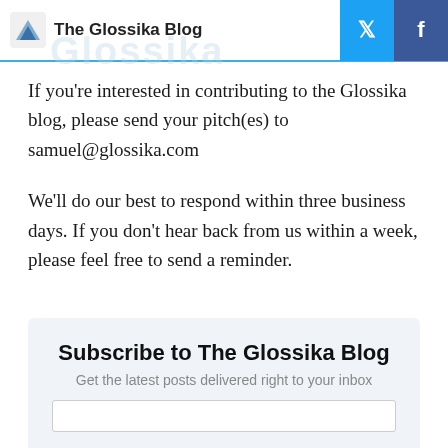The Glossika Blog
If you're interested in contributing to the Glossika blog, please send your pitch(es) to samuel@glossika.com
We'll do our best to respond within three business days. If you don't hear back from us within a week, please feel free to send a reminder.
Subscribe to The Glossika Blog
Get the latest posts delivered right to your inbox